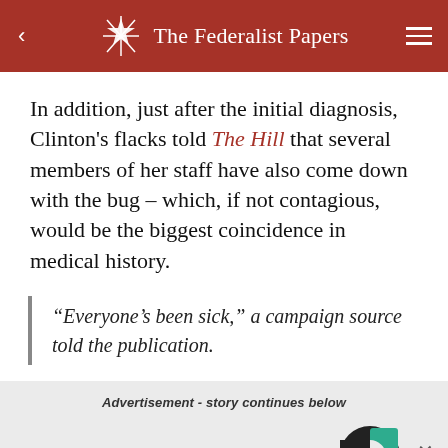The Federalist Papers
In addition, just after the initial diagnosis, Clinton's flacks told The Hill that several members of her staff have also come down with the bug – which, if not contagious, would be the biggest coincidence in medical history.
“Everyone’s been sick,” a campaign source told the publication.
[Figure (other): Advertisement box with 'Advertisement - story continues below' label, a C-shaped logo in dark/teal colors, a close (x) button, and an 'Advertisement' label below.]